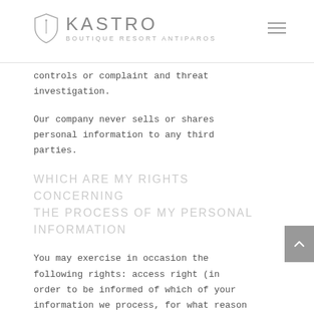KASTRO BOUTIQUE RESORT ANTIPAROS
controls or complaint and threat investigation.
Our company never sells or shares personal information to any third parties.
WHICH ARE MY RIGHTS CONCERNING THE PROCESS OF MY PERSONAL INFORMATION
You may exercise in occasion the following rights: access right (in order to be informed of which of your information we process, for what reason and who is the recipient), your…